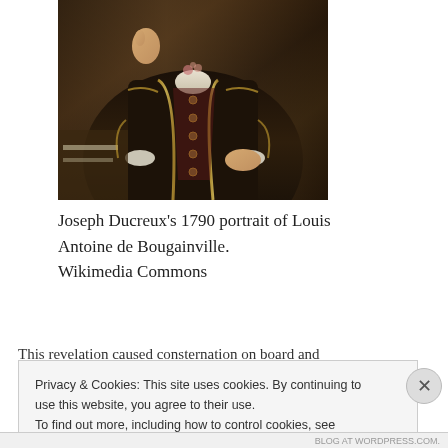[Figure (photo): A painting portrait showing a man in an ornate dark jacket with gold embroidery and buttons, white ruffled cuffs, gesturing with one hand raised. This is Joseph Ducreux's 1790 portrait of Louis Antoine de Bougainville.]
Joseph Ducreux's 1790 portrait of Louis Antoine de Bougainville.
Wikimedia Commons
This revelation caused consternation on board and
Privacy & Cookies: This site uses cookies. By continuing to use this website, you agree to their use.
To find out more, including how to control cookies, see here: Cookie Policy